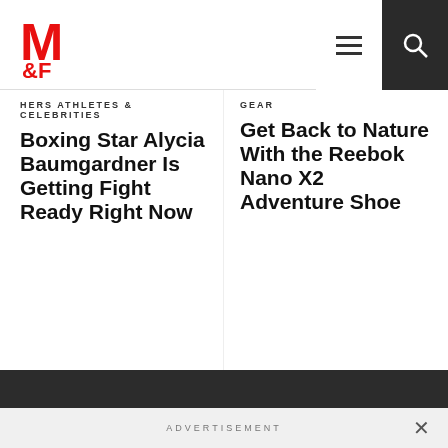M&F logo, hamburger menu, search icon
HERS ATHLETES & CELEBRITIES
Boxing Star Alycia Baumgardner Is Getting Fight Ready Right Now
GEAR
Get Back to Nature With the Reebok Nano X2 Adventure Shoe
STAY UP TO DATE
Sign up below to receive our newest workout routines, recipes, news stories, and offers from our partners
ADVERTISEMENT